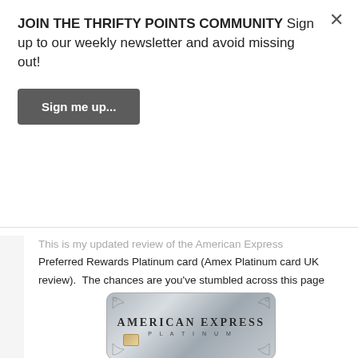JOIN THE THRIFTY POINTS COMMUNITY Sign up to our weekly newsletter and avoid missing out!
Sign me up...
This is my updated review of the American Express Preferred Rewards Platinum card (Amex Platinum card UK review).  The chances are you've stumbled across this page because you're asking yourself does the £575 pa cost of holding the card really make sense? In this review I'll delve into the key benefits of the card, run some (hopefully) easy-to-follow cost analysis and answer the question on everyone's lips – Is Amex Platinum worth it UK?
[Figure (photo): American Express Platinum credit card — a metallic silver/grey card with 'AMERICAN EXPRESS' in bold letters and 'PLATINUM' below in spaced letters, decorative corner flourishes, and a chip visible at the bottom left.]